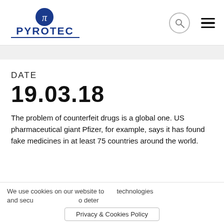PYROTEC
DATE
19.03.18
The problem of counterfeit drugs is a global one. US pharmaceutical giant Pfizer, for example, says it has found fake medicines in at least 75 countries around the world.
We use cookies on our website to  technologies and secu  o deter
Privacy & Cookies Policy